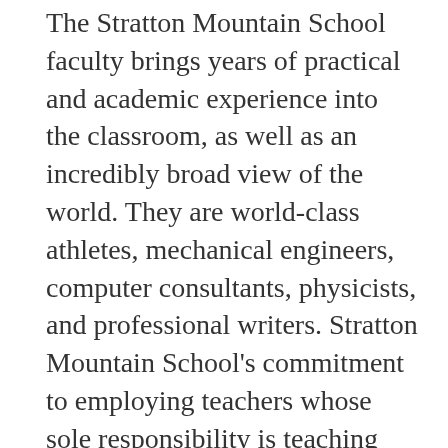The Stratton Mountain School faculty brings years of practical and academic experience into the classroom, as well as an incredibly broad view of the world. They are world-class athletes, mechanical engineers, computer consultants, physicists, and professional writers. Stratton Mountain School's commitment to employing teachers whose sole responsibility is teaching has resulted in an exceptional legion of academic staff. With 70% of our teachers holding at least a master's degree, each faculty member brings a passion for teaching and a solid foundation in their field of study into the classroom. Please contact Academic Dean Alex Lehmann at (802) 856-1117 for more information.